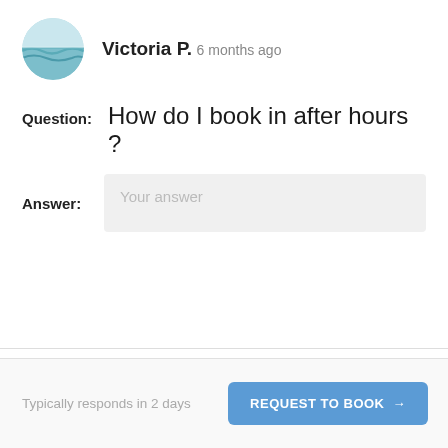[Figure (photo): Circular avatar photo of a beach/ocean wave scene with teal water]
Victoria P.  6 months ago
Question:  How do I book in after hours ?
Answer:  Your answer
Typically responds in 2 days
REQUEST TO BOOK →